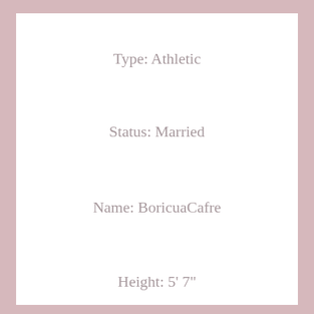Type: Athletic
Status: Married
Name: BoricuaCafre
Height: 5' 7"
Hair: Grey